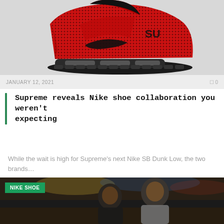[Figure (photo): Red and black Nike Supreme collaborative sneaker (high-top) on a light grey background]
JANUARY 12, 2021
0
Supreme reveals Nike shoe collaboration you weren't expecting
While the wait is high for Supreme's next Nike SB Dunk Low, the two brands…
[Figure (photo): Two basketball players at a court event, with a green 'NIKE SHOE' category badge overlaid in the top-left corner]